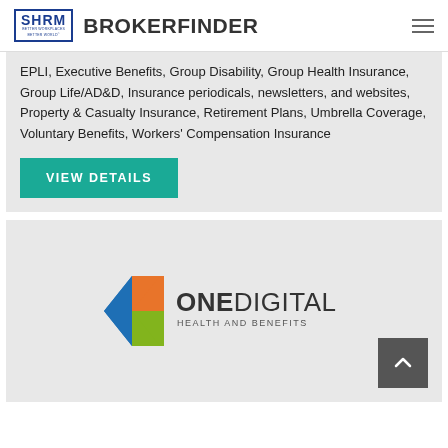SHRM BROKERFINDER
EPLI, Executive Benefits, Group Disability, Group Health Insurance, Group Life/AD&D, Insurance periodicals, newsletters, and websites, Property & Casualty Insurance, Retirement Plans, Umbrella Coverage, Voluntary Benefits, Workers' Compensation Insurance
VIEW DETAILS
[Figure (logo): OneDigital Health and Benefits logo with triangular chevron shape in blue, orange, and green colors]